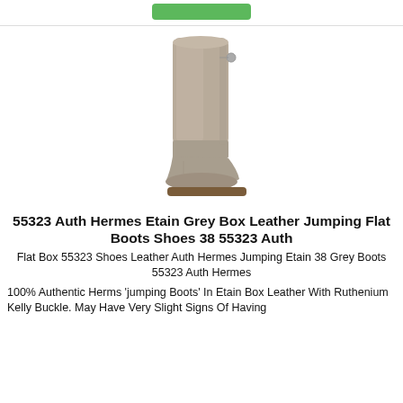[Figure (photo): A tall grey riding/jumping boot (Hermes Etain Box Leather) standing upright, shown from the side. The boot has a slim silhouette, a small heel, and a decorative buckle detail at the top back.]
55323 Auth Hermes Etain Grey Box Leather Jumping Flat Boots Shoes 38 55323 Auth
Flat Box 55323 Shoes Leather Auth Hermes Jumping Etain 38 Grey Boots 55323 Auth Hermes
100% Authentic Herms 'jumping Boots' In Etain Box Leather With Ruthenium Kelly Buckle. May Have Very Slight Signs Of Having